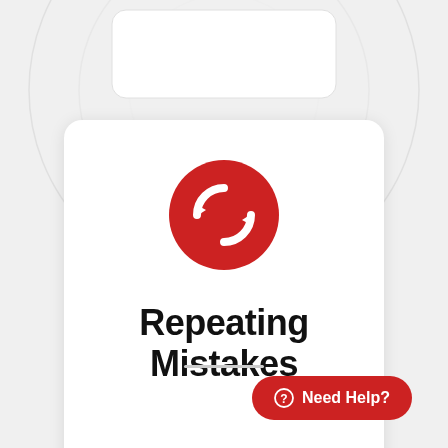[Figure (illustration): Red circular refresh/repeat icon with white arrows on a white card with rounded corners, set against a light gray background with concentric circle decorative elements]
Repeating Mistakes
Need Help?